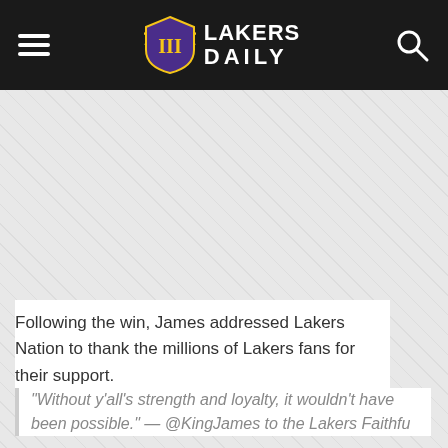Lakers Daily
[Figure (other): Advertisement or image placeholder area with light gray hatched background]
Following the win, James addressed Lakers Nation to thank the millions of Lakers fans for their support.
"Without y'all's strength and loyalty, it wouldn't have been possible." — @KingJames to the Lakers Faithful